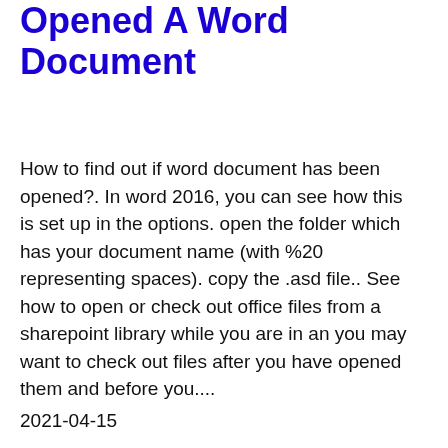Opened A Word Document
How to find out if word document has been opened?. In word 2016, you can see how this is set up in the options. open the folder which has your document name (with %20 representing spaces). copy the .asd file.. See how to open or check out office files from a sharepoint library while you are in an you may want to check out files after you have opened them and before you....
2021-04-15